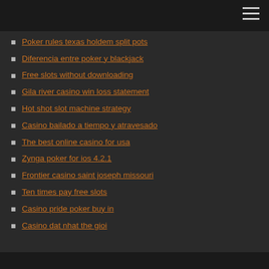Poker rules texas holdem split pots
Diferencia entre poker y blackjack
Free slots without downloading
Gila river casino win loss statement
Hot shot slot machine strategy
Casino bailado a tiempo y atravesado
The best online casino for usa
Zynga poker for ios 4.2.1
Frontier casino saint joseph missouri
Ten times pay free slots
Casino pride poker buy in
Casino dat nhat the gioi